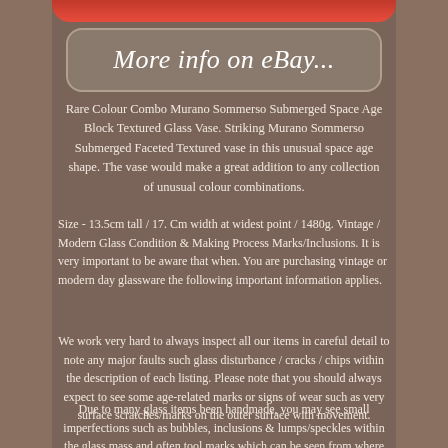[Figure (photo): Top portion of a red-dressed figure, partially visible at top of page]
[Figure (screenshot): eBay button with text 'More info on eBay...' in italic white font on rounded rectangle]
Rare Colour Combo Murano Sommerso Submerged Space Age Block Textured Glass Vase. Striking Murano Sommerso Submerged Faceted Textured vase in this unusual space age shape. The vase would make a great addition to any collection of unusual colour combinations.
Size - 13.5cm tall / 17. Cm width at widest point / 1480g. Vintage / Modern Glass Condition & Making Process Marks/Inclusions. It is very important to be aware that when. You are purchasing vintage or modern day glassware the following important information applies.
We work very hard to always inspect all our items in careful detail to note any major faults such glass disturbance / cracks / chips within the description of each listing. Please note that you should always expect to see some age-related marks or signs of wear such as very surface scratches/marks on the outer surface with movement.
Due to many glass items been handmade, you may see small imperfections such as bubbles, inclusions & lumps/speckles within the glass mass and often tool marks which can be seen from where they have been shaped and worked during the manufacturing/making/blowing process. We mention this because